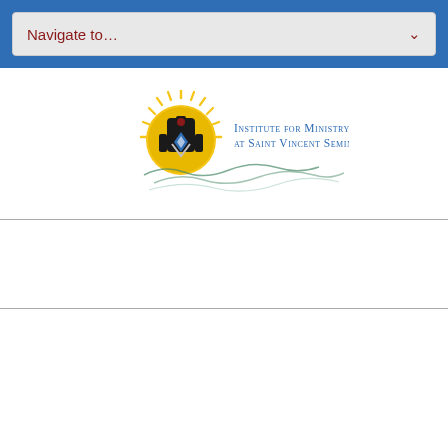Navigate to...
[Figure (logo): Institute for Ministry Formation at Saint Vincent Seminary logo — circular emblem with rays and a cross/shield motif, with decorative wave lines below, and text to the right reading Institute for Ministry Formation at Saint Vincent Seminary]